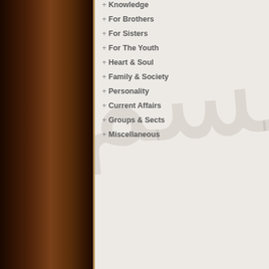+ Knowledge
+ For Brothers
+ For Sisters
+ For The Youth
+ Heart & Soul
+ Family & Society
+ Personality
+ Current Affairs
+ Groups & Sects
+ Miscellaneous
Shaykh Khalid Yasin, a forme Institute (ITI); a premier orga Arabic language in Madina, S teachers who tutored him in memorisation and recitation o more than 5000 persons to Is Shaykh Khalid Yasin delivere which resulted in 43 persons tours the world delivering lec conducting Dawah Training C Islamic Training Program. Kh Muslims to fulfil the respons Insha'Allah. Email: specialsky
Strangers